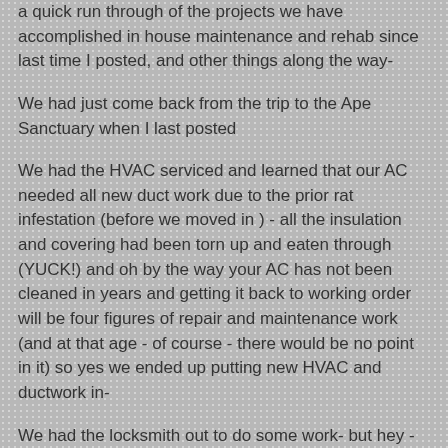a quick run through of the projects we have accomplished in house maintenance and rehab since last time I posted, and other things along the way-
We had just come back from the trip to the Ape Sanctuary when I last posted
We had the HVAC serviced and learned that our AC needed all new duct work due to the prior rat infestation (before we moved in ) - all the insulation and covering had been torn up and eaten through (YUCK!) and oh by the way your AC has not been cleaned in years and getting it back to working order will be four figures of repair and maintenance work (and at that age - of course - there would be no point in it) so yes we ended up putting new HVAC and ductwork in-
We had the locksmith out to do some work- but hey - that one was just a single door LOL-
The electricians came back for the remainder of the work - installed GFIs in all the places needed to bring the house  up to code and did some installation of new lights for us under